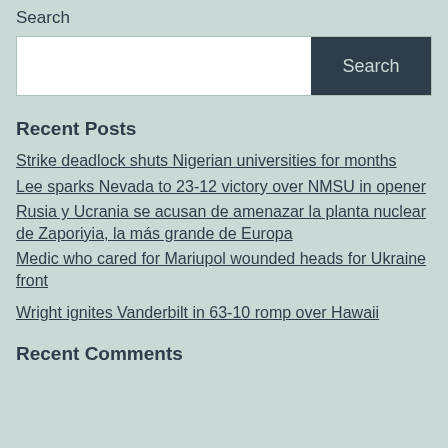Search
[Figure (other): Search input box with a white text field and a dark navy Search button]
Recent Posts
Strike deadlock shuts Nigerian universities for months
Lee sparks Nevada to 23-12 victory over NMSU in opener
Rusia y Ucrania se acusan de amenazar la planta nuclear de Zaporiyia, la más grande de Europa
Medic who cared for Mariupol wounded heads for Ukraine front
Wright ignites Vanderbilt in 63-10 romp over Hawaii
Recent Comments